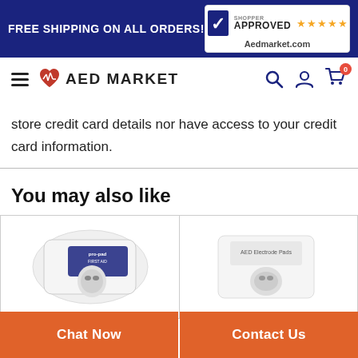FREE SHIPPING ON ALL ORDERS! | Shopper Approved ★★★★★ Aedmarket.com
[Figure (logo): AED Market logo with red heart and ECG icon, text AED MARKET, plus navigation icons (search, account, cart with 0 badge)]
store credit card details nor have access to your credit card information.
You may also like
[Figure (photo): Two product cards showing AED electrode pad packages (pro-pad brand visible on left card), partially cropped]
Chat Now
Contact Us